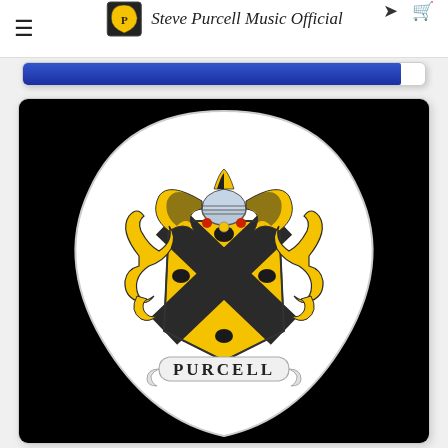Steve Purcell Music Official
[Figure (illustration): A guitar pick shaped image on black background featuring the Purcell family coat of arms: a heraldic shield with gold and black saltire cross with boars/animals, a knight's helmet on top with gold and black decorative mantling, golden scrollwork on sides, and a white ribbon banner at the bottom reading PURCELL.]